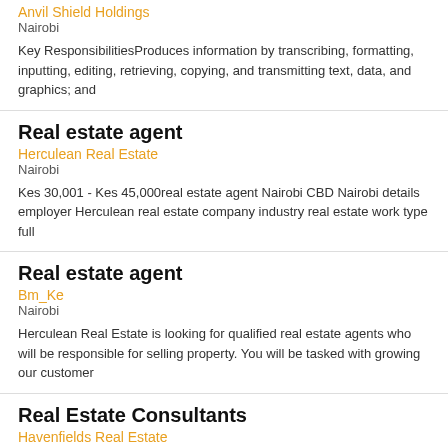Anvil Shield Holdings
Nairobi
Key ResponsibilitiesProduces information by transcribing, formatting, inputting, editing, retrieving, copying, and transmitting text, data, and graphics; and
Real estate agent
Herculean Real Estate
Nairobi
Kes 30,001 - Kes 45,000real estate agent Nairobi CBD Nairobi details employer Herculean real estate company industry real estate work type full
Real estate agent
Bm_Ke
Nairobi
Herculean Real Estate is looking for qualified real estate agents who will be responsible for selling property. You will be tasked with growing our customer
Real Estate Consultants
Havenfields Real Estate
Nairobi
Kes 15,001 - Kes 30,000real estate consultants Nairobi CBD Nairobi details employer havenfields real estate Ltd company industry real estate work type